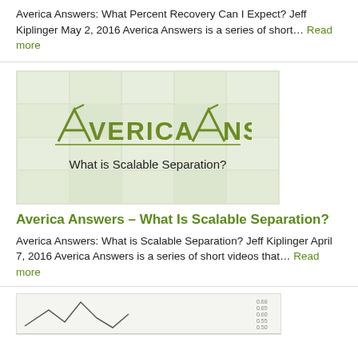Averica Answers: What Percent Recovery Can I Expect? Jeff Kiplinger May 2, 2016 Averica Answers is a series of short... Read more
[Figure (illustration): Averica Answers logo on a green tiled background with subtitle 'What is Scalable Separation?']
Averica Answers – What Is Scalable Separation?
Averica Answers: What is Scalable Separation? Jeff Kiplinger April 7, 2016 Averica Answers is a series of short videos that... Read more
[Figure (other): Partial view of a chart/graph at the bottom of the page]